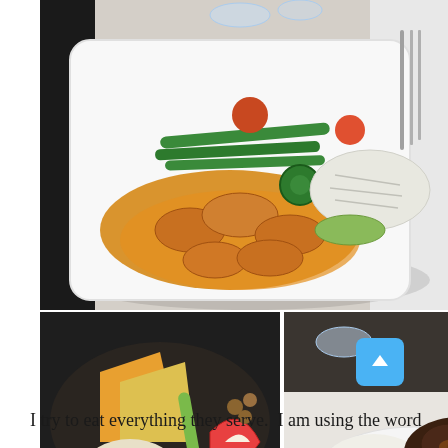[Figure (photo): Top photo: A white square plate with a restaurant meal featuring shrimp in golden/orange sauce, green beans, jalapeño slices, cherry tomatoes, and a white fish fillet with a slice of zucchini. Background shows a dark tray, water glasses, and cutlery on a white tablecloth.]
[Figure (photo): Bottom-left photo: A cheese plate with various cheeses, celery stick, apple slice, walnuts, an olive, and a cracker on a dark surface.]
[Figure (photo): Bottom-right photo: A white plate with white rice, braised meat in brown sauce, asparagus, red bell pepper, and yellow squash. A fork and wine glass visible in background.]
I try to eat everything they serve.  I am using the word